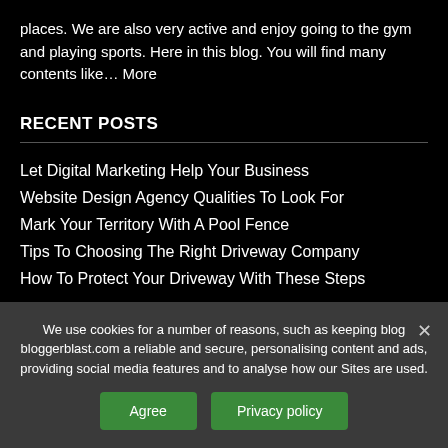places. We are also very active and enjoy going to the gym and playing sports. Here in this blog. You will find many contents like… More
RECENT POSTS
Let Digital Marketing Help Your Business
Website Design Agency Qualities To Look For
Mark Your Territory With A Pool Fence
Tips To Choosing The Right Driveway Company
How To Protect Your Driveway With These Steps
We use cookies for a number of reasons, such as keeping blog bloggerblast.com a reliable and secure, personalising content and ads, providing social media features and to analyse how our Sites are used.
Agree | Privacy policy